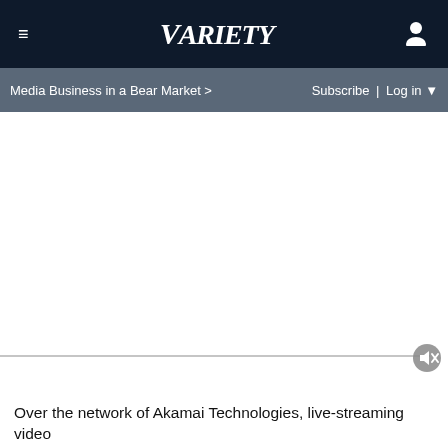VARIETY
Media Business in a Bear Market > Subscribe | Log in ▼
[Figure (screenshot): Blank white area representing an embedded video player or advertisement space with a mute/unmute button and a progress/scrubber bar at the bottom.]
Over the network of Akamai Technologies, live-streaming video